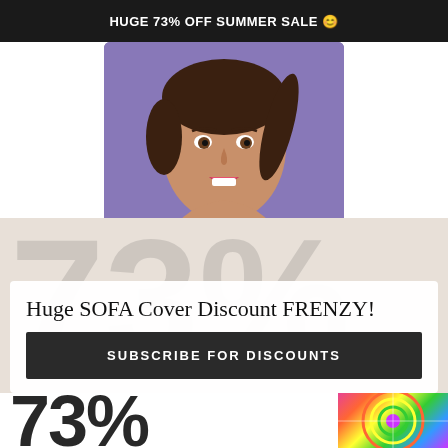HUGE 73% OFF SUMMER SALE 😊
[Figure (photo): Photo of a young woman with brown hair in a ponytail against a purple background, mouth open as if speaking]
[Figure (photo): Broken/missing image placeholder icon]
DUTCH CUSHION PILLOW SOFA SHAPE CLASSIC RECLINER SOFA BED...
Huge SOFA Cover Discount FRENZY!
SUBSCRIBE FOR DISCOUNTS
73%